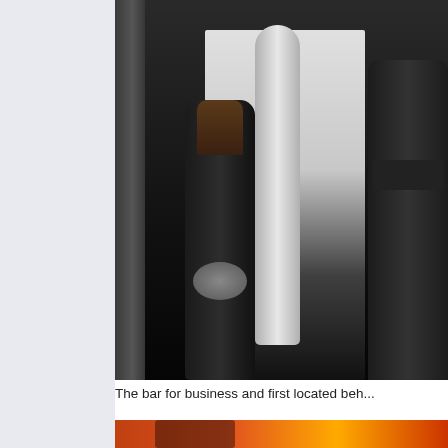[Figure (photo): Photo of liquor bottles on a bar shelf, including Grey Goose vodka and other spirits, set against a dark background with orange lighting visible in the upper right corner]
The bar for business and first located beh...
[Figure (photo): Partial photo visible at bottom of page showing warm orange/red toned bar interior]